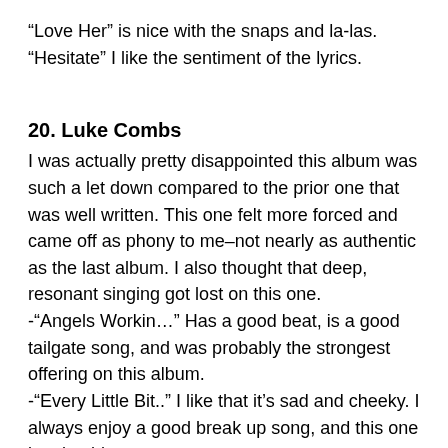“Love Her” is nice with the snaps and la-las.
“Hesitate” I like the sentiment of the lyrics.
20. Luke Combs
I was actually pretty disappointed this album was such a let down compared to the prior one that was well written. This one felt more forced and came off as phony to me–not nearly as authentic as the last album. I also thought that deep, resonant singing got lost on this one.
-“Angels Workin…” Has a good beat, is a good tailgate song, and was probably the strongest offering on this album.
-“Every Little Bit..” I like that it’s sad and cheeky. I always enjoy a good break up song, and this one is relatable.
-“Beer Never Broke” is a good tailgate song.